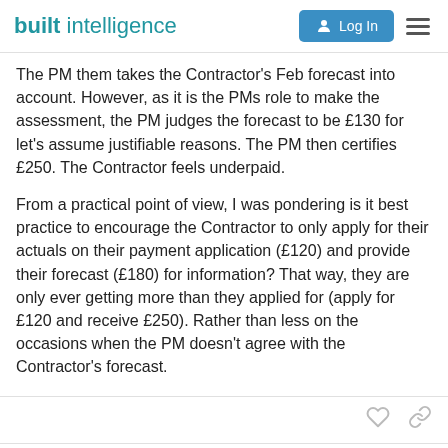built intelligence
The PM them takes the Contractor's Feb forecast into account. However, as it is the PMs role to make the assessment, the PM judges the forecast to be £130 for let's assume justifiable reasons. The PM then certifies £250. The Contractor feels underpaid.
From a practical point of view, I was pondering is it best practice to encourage the Contractor to only apply for their actuals on their payment application (£120) and provide their forecast (£180) for information? That way, they are only ever getting more than they applied for (apply for £120 and receive £250). Rather than less on the occasions when the PM doesn't agree with the Contractor's forecast.
Andrew_W-I
Panel Member
2 / 4